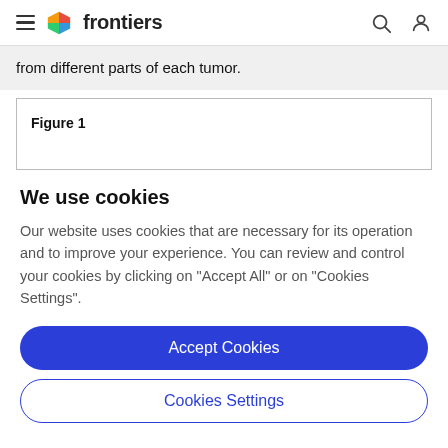frontiers
from different parts of each tumor.
[Figure (other): Figure 1 placeholder box]
Figure 1
We use cookies
Our website uses cookies that are necessary for its operation and to improve your experience. You can review and control your cookies by clicking on "Accept All" or on "Cookies Settings".
Accept Cookies
Cookies Settings